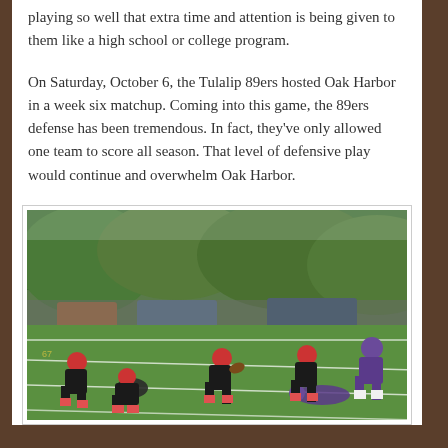playing so well that extra time and attention is being given to them like a high school or college program.
On Saturday, October 6, the Tulalip 89ers hosted Oak Harbor in a week six matchup. Coming into this game, the 89ers defense has been tremendous. In fact, they've only allowed one team to score all season. That level of defensive play would continue and overwhelm Oak Harbor.
[Figure (photo): Youth football game showing players in black and red uniforms (Tulalip 89ers) running on a green turf field, with players in purple uniforms (Oak Harbor) nearby. Trees visible in background.]